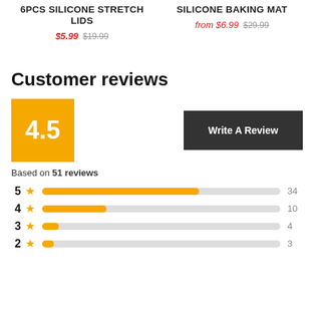6PCS SILICONE STRETCH LIDS
$5.99  $19.99
SILICONE BAKING MAT
from $6.99  $29.99
Customer reviews
[Figure (other): Rating box showing 4.5 in yellow/orange square, with Write A Review button]
Based on 51 reviews
[Figure (bar-chart): Star rating distribution]